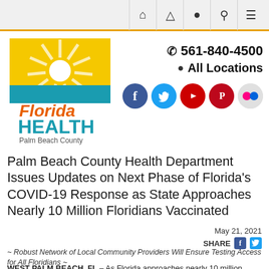Navigation bar with icons: home, alert, location, search, menu
[Figure (logo): Florida Health Palm Beach County logo — sun rays over water with orange 'Florida' and teal 'HEALTH' text and 'Palm Beach County' subtitle]
📞 561-840-4500
📍 All Locations
[Figure (infographic): Social media icons: Facebook (blue), Twitter (blue), YouTube (red), Pinterest (dark red), Flickr (grey/pink)]
Palm Beach County Health Department Issues Updates on Next Phase of Florida's COVID-19 Response as State Approaches Nearly 10 Million Floridians Vaccinated
May 21, 2021
SHARE
~ Robust Network of Local Community Providers Will Ensure Testing Access for All Floridians ~
WEST PALM BEACH, FL – As Florida approaches nearly 10 million